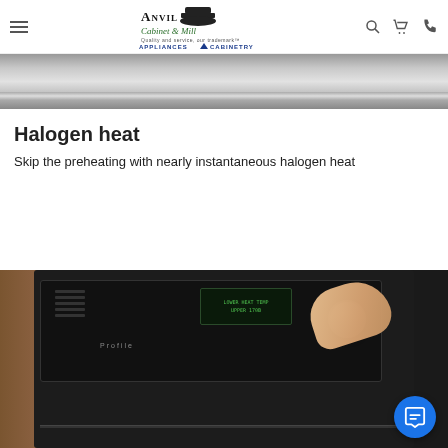Anvil Cabinet & Mill — Appliances & Cabinetry
[Figure (photo): Close-up of a stainless steel appliance surface, partially cropped at top of page]
Halogen heat
Skip the preheating with nearly instantaneous halogen heat
[Figure (photo): Person turning a knob on a GE Profile wall oven control panel with green digital display showing 'LOWER HEAT TEMP / UPPER 170B']